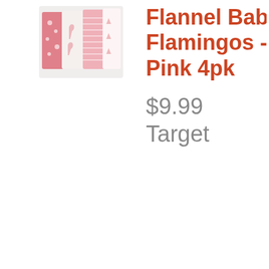[Figure (photo): Flannel baby blankets with flamingo and pink patterns, 4-pack, folded and stacked]
Flannel Baby Flamingos - Pink 4pk
$9.99
Target
[Figure (photo): Crib fitted sheet with pink flamingo pattern on white background]
Crib Fitted S... Cloud Island...
$9.99
Target
Red Rovr Or... Media S...